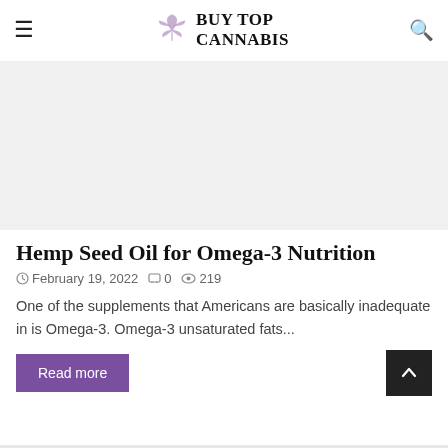Buy Top Cannabis
[Figure (photo): Light gray placeholder hero image area]
Hemp Seed Oil for Omega-3 Nutrition
February 19, 2022   0   219
One of the supplements that Americans are basically inadequate in is Omega-3. Omega-3 unsaturated fats...
Read more